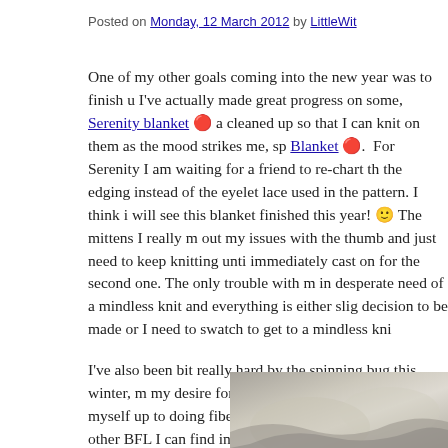Posted on Monday, 12 March 2012 by LittleWit
One of my other goals coming into the new year was to finish u I've actually made great progress on some, Serenity blanket 🔴 a cleaned up so that I can knit on them as the mood strikes me, sp Blanket 🔴.  For Serenity I am waiting for a friend to re-chart th the edging instead of the eyelet lace used in the pattern. I think i will see this blanket finished this year! 🙂 The mittens I really m out my issues with the thumb and just need to keep knitting unti immediately cast on for the second one. The only trouble with m in desperate need of a mindless knit and everything is either slig decision to be made or I need to swatch to get to a mindless kni
I've also been bit really hard by the spinning bug this winter, m my desire for mindless knitting. I'm working myself up to doing fiber and have been spinning all the other BFL I can find in my
[Figure (photo): A photograph showing what appears to be yarn or fiber, with muted gray and beige tones, partially visible at the bottom right of the page.]